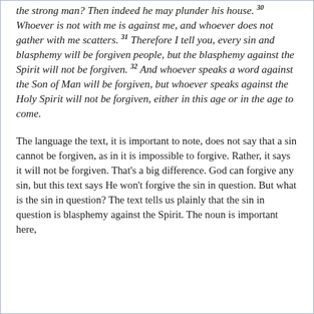the strong man? Then indeed he may plunder his house. 30 Whoever is not with me is against me, and whoever does not gather with me scatters. 31 Therefore I tell you, every sin and blasphemy will be forgiven people, but the blasphemy against the Spirit will not be forgiven. 32 And whoever speaks a word against the Son of Man will be forgiven, but whoever speaks against the Holy Spirit will not be forgiven, either in this age or in the age to come.
The language the text, it is important to note, does not say that a sin cannot be forgiven, as in it is impossible to forgive. Rather, it says it will not be forgiven. That's a big difference. God can forgive any sin, but this text says He won't forgive the sin in question. But what is the sin in question? The text tells us plainly that the sin in question is blasphemy against the Spirit. The noun is important here,